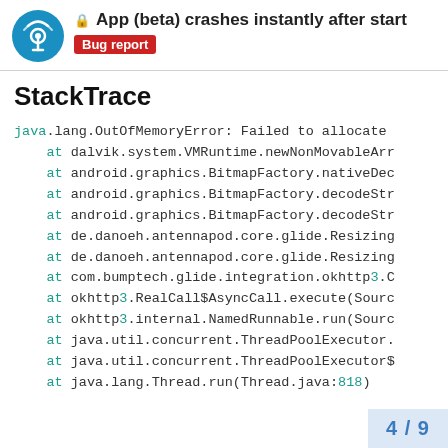App (beta) crashes instantly after start — Bug report
StackTrace
java.lang.OutOfMemoryError: Failed to allocate
    at dalvik.system.VMRuntime.newNonMovableArr
    at android.graphics.BitmapFactory.nativeDec
    at android.graphics.BitmapFactory.decodeStr
    at android.graphics.BitmapFactory.decodeStr
    at de.danoeh.antennapod.core.glide.Resizing
    at de.danoeh.antennapod.core.glide.Resizing
    at com.bumptech.glide.integration.okhttp3.C
    at okhttp3.RealCall$AsyncCall.execute(Sourc
    at okhttp3.internal.NamedRunnable.run(Sourc
    at java.util.concurrent.ThreadPoolExecutor.
    at java.util.concurrent.ThreadPoolExecutor$
    at java.lang.Thread.run(Thread.java:818)
4 / 9